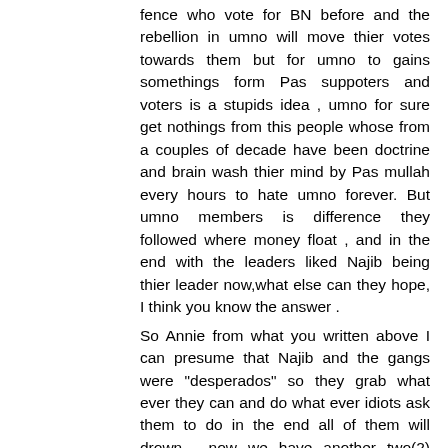fence who vote for BN before and the rebellion in umno will move thier votes towards them but for umno to gains somethings form Pas suppoters and voters is a stupids idea , umno for sure get nothings from this people whose from a couples of decade have been doctrine and brain wash thier mind by Pas mullah every hours to hate umno forever. But umno members is difference they followed where money float , and in the end with the leaders liked Najib being thier leader now,what else can they hope, I think you know the answer . So Annie from what you written above I can presume that Najib and the gangs were "desperados" so they grab what ever they can and do what ever idiots ask them to do in the end all of them will drown , now we have another two(2) bloody years form PRU 14 , so you just imagine with this period there will be a lot more allegations on Najib for instance ,investigation on 1MBD money laundering in Switzerland , Hong kong , UK ,Singapore and US , Ex A/AG late Kevin Morais " Pen Drive" mystery, Ex AG Patail statements on his sackings(i don't think he dare to release now its very ,very dangerous)and lots more scandals on 1MDB will be release by external media Plus the rakyat